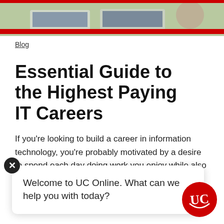[Figure (photo): Top banner photo showing a person working on laptops, with a red horizontal bar below]
Blog
Essential Guide to the Highest Paying IT Careers
If you're looking to build a career in information technology, you're probably motivated by a desire to spend each day doing work you enjoy while also earning a decent living. Well, we've...
[Figure (screenshot): Chat popup overlay with close X button, text: Welcome to UC Online. What can we help you with today?, and UC logo circle in red]